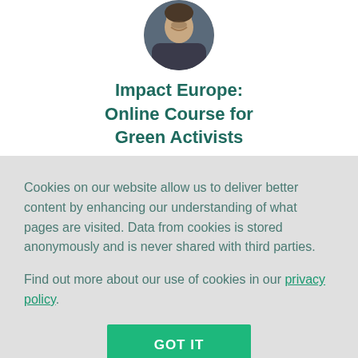[Figure (photo): Circular cropped photo of a person with mouth open, appearing to cheer or shout, against a dark background.]
Impact Europe: Online Course for Green Activists
Cookies on our website allow us to deliver better content by enhancing our understanding of what pages are visited. Data from cookies is stored anonymously and is never shared with third parties.
Find out more about our use of cookies in our privacy policy.